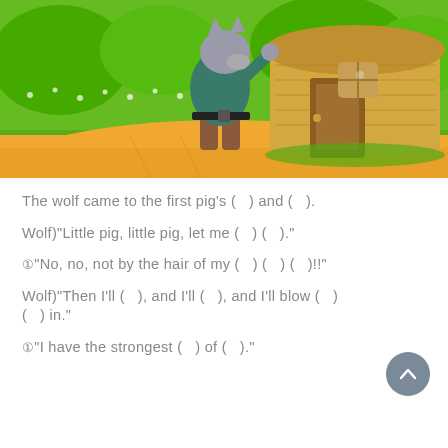[Figure (illustration): Cartoon illustration of a big bad wolf in green shirt and brown pants standing at the door of a straw house, with green grass and trees in the background and a sandy path in the foreground.]
The wolf came to the first pig's (   ) and (   ).
Wolf)"Little pig, little pig, let me (   ) (   )."
①"No, no, not by the hair of my (   ) (   ) (   )!!"
Wolf)"Then I'll (   ), and I'll (   ), and I'll blow (   ) (   ) in."
①"I have the strongest (   ) of (   )."